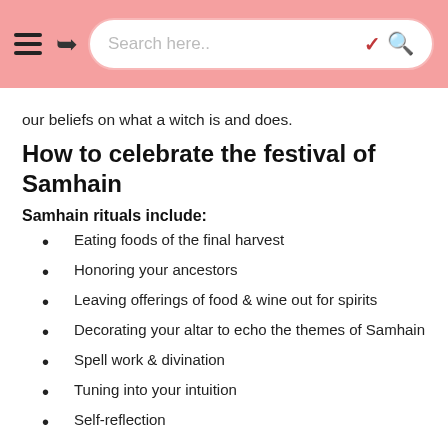Search here..
our beliefs on what a witch is and does.
How to celebrate the festival of Samhain
Samhain rituals include:
Eating foods of the final harvest
Honoring your ancestors
Leaving offerings of food & wine out for spirits
Decorating your altar to echo the themes of Samhain
Spell work & divination
Tuning into your intuition
Self-reflection